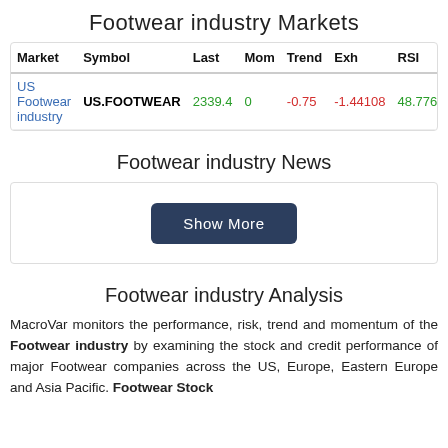Footwear industry Markets
| Market | Symbol | Last | Mom | Trend | Exh | RSI | 1D |
| --- | --- | --- | --- | --- | --- | --- | --- |
| US Footwear industry | US.FOOTWEAR | 2339.4 | 0 | -0.75 | -1.44108 | 48.7766 | 0.0 |
Footwear industry News
Show More
Footwear industry Analysis
MacroVar monitors the performance, risk, trend and momentum of the Footwear industry by examining the stock and credit performance of major Footwear companies across the US, Europe, Eastern Europe and Asia Pacific. Footwear Stock